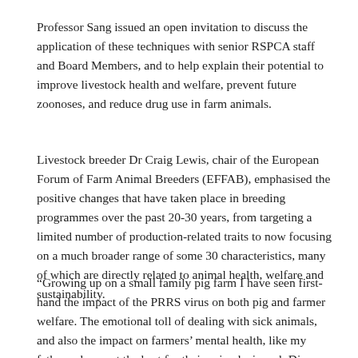Professor Sang issued an open invitation to discuss the application of these techniques with senior RSPCA staff and Board Members, and to help explain their potential to improve livestock health and welfare, prevent future zoonoses, and reduce drug use in farm animals.
Livestock breeder Dr Craig Lewis, chair of the European Forum of Farm Animal Breeders (EFFAB), emphasised the positive changes that have taken place in breeding programmes over the past 20-30 years, from targeting a limited number of production-related traits to now focusing on a much broader range of some 30 characteristics, many of which are directly related to animal health, welfare and sustainability.
“Growing up on a small family pig farm I have seen first-hand the impact of the PRRS virus on both pig and farmer welfare. The emotional toll of dealing with sick animals, and also the impact on farmers’ mental health, like my father, who want the best for their animals, is real. Disease impacts animals, households, and entire rural communities. Now in my current role working as part of a breeding industry that can